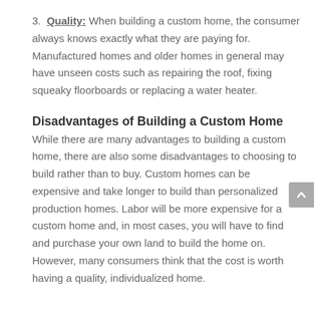3. Quality: When building a custom home, the consumer always knows exactly what they are paying for. Manufactured homes and older homes in general may have unseen costs such as repairing the roof, fixing squeaky floorboards or replacing a water heater.
Disadvantages of Building a Custom Home
While there are many advantages to building a custom home, there are also some disadvantages to choosing to build rather than to buy. Custom homes can be expensive and take longer to build than personalized production homes. Labor will be more expensive for a custom home and, in most cases, you will have to find and purchase your own land to build the home on. However, many consumers think that the cost is worth having a quality, individualized home.